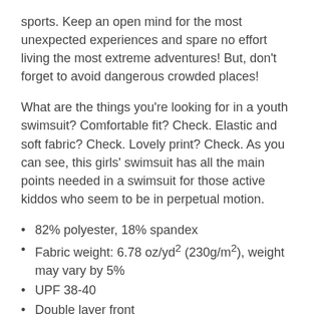sports. Keep an open mind for the most unexpected experiences and spare no effort living the most extreme adventures! But, don't forget to avoid dangerous crowded places!
What are the things you're looking for in a youth swimsuit? Comfortable fit? Check. Elastic and soft fabric? Check. Lovely print? Check. As you can see, this girls' swimsuit has all the main points needed in a swimsuit for those active kiddos who seem to be in perpetual motion.
82% polyester, 18% spandex
Fabric weight: 6.78 oz/yd² (230g/m²), weight may vary by 5%
UPF 38-40
Double layer front
Bias binding in black or white
Sewn with an overlock stitch
Smooth and comfortable microfiber yarn
Four-way stretch material stretches and recovers on the